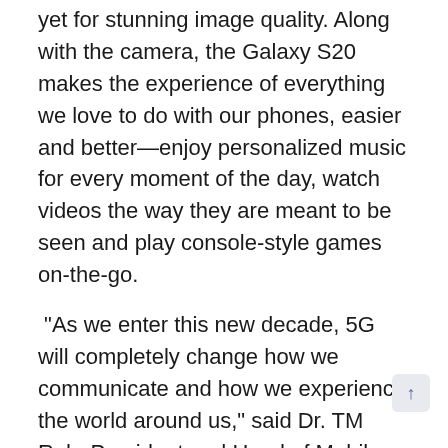yet for stunning image quality. Along with the camera, the Galaxy S20 makes the experience of everything we love to do with our phones, easier and better—enjoy personalized music for every moment of the day, watch videos the way they are meant to be seen and play console-style games on-the-go.
“As we enter this new decade, 5G will completely change how we communicate and how we experience the world around us,” said Dr. TM Roh, President and Head of Mobile Communications Business, Samsung Electronics. “As all three Galaxy S20 variants come with 5G connectivity, Samsung is providing a next-generation device for transforming people’s lives. With an incredible, AI powered camera, you can capture the moments as they happen and connect more seamlessly with the people you love.”